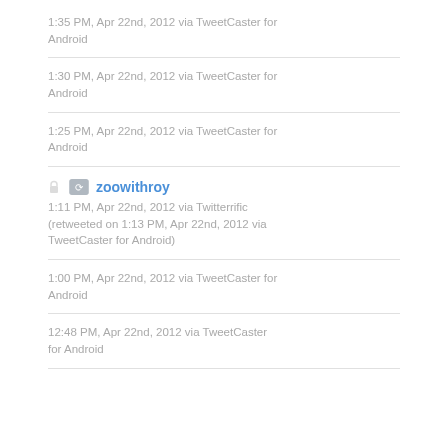1:35 PM, Apr 22nd, 2012 via TweetCaster for Android
1:30 PM, Apr 22nd, 2012 via TweetCaster for Android
1:25 PM, Apr 22nd, 2012 via TweetCaster for Android
zoowithroy
1:11 PM, Apr 22nd, 2012 via Twitterrific (retweeted on 1:13 PM, Apr 22nd, 2012 via TweetCaster for Android)
1:00 PM, Apr 22nd, 2012 via TweetCaster for Android
12:48 PM, Apr 22nd, 2012 via TweetCaster for Android